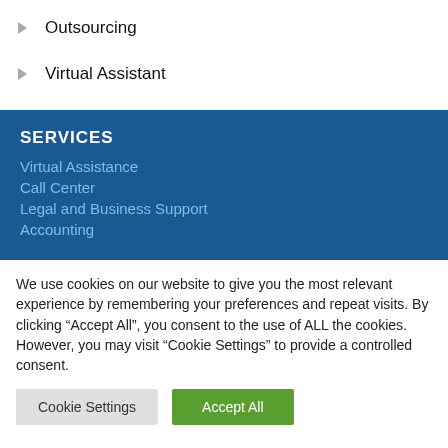Outsourcing
Virtual Assistant
SERVICES
Virtual Assistance
Call Center
Legal and Business Support
Accounting
We use cookies on our website to give you the most relevant experience by remembering your preferences and repeat visits. By clicking “Accept All”, you consent to the use of ALL the cookies. However, you may visit "Cookie Settings" to provide a controlled consent.
Cookie Settings | Accept All